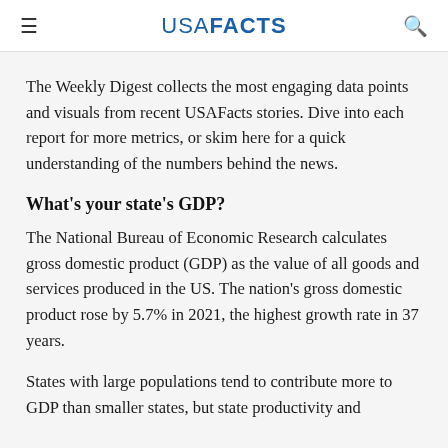USA FACTS
The Weekly Digest collects the most engaging data points and visuals from recent USAFacts stories. Dive into each report for more metrics, or skim here for a quick understanding of the numbers behind the news.
What's your state's GDP?
The National Bureau of Economic Research calculates gross domestic product (GDP) as the value of all goods and services produced in the US. The nation's gross domestic product rose by 5.7% in 2021, the highest growth rate in 37 years.
States with large populations tend to contribute more to GDP than smaller states, but state productivity and